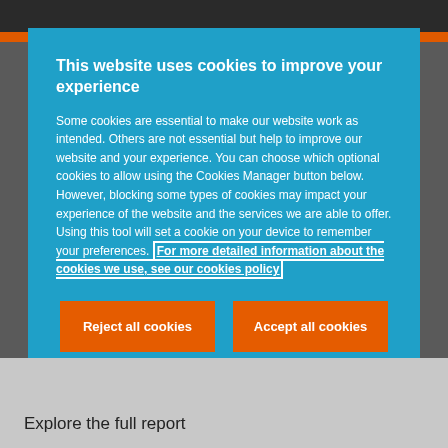This website uses cookies to improve your experience
Some cookies are essential to make our website work as intended. Others are not essential but help to improve our website and your experience. You can choose which optional cookies to allow using the Cookies Manager button below. However, blocking some types of cookies may impact your experience of the website and the services we are able to offer. Using this tool will set a cookie on your device to remember your preferences. For more detailed information about the cookies we use, see our cookies policy
Reject all cookies
Accept all cookies
Cookies Manager
Explore the full report